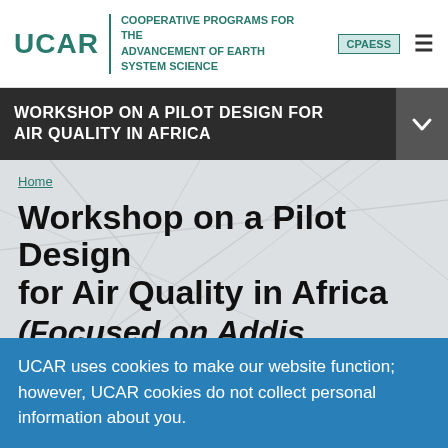UCAR | COOPERATIVE PROGRAMS FOR THE ADVANCEMENT OF EARTH SYSTEM SCIENCE | CPAESS
WORKSHOP ON A PILOT DESIGN FOR AIR QUALITY IN AFRICA
Home
Workshop on a Pilot Design for Air Quality in Africa
(Focused on Addis
UCAR uses cookies to make our website function; however, UCAR cookies do not collect personal information about you.